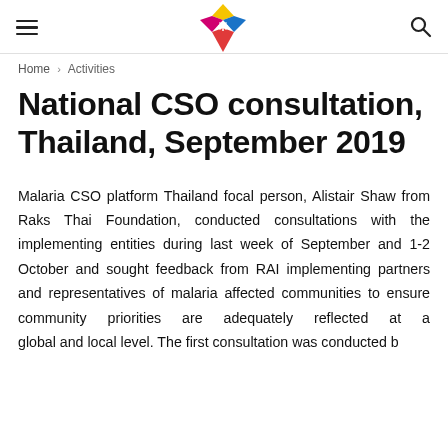Navigation header with hamburger menu, logo, and search icon
Home › Activities
National CSO consultation, Thailand, September 2019
Malaria CSO platform Thailand focal person, Alistair Shaw from Raks Thai Foundation, conducted consultations with the implementing entities during last week of September and 1-2 October and sought feedback from RAI implementing partners and representatives of malaria affected communities to ensure community priorities are adequately reflected at a global and local level. The first consultation was conducted